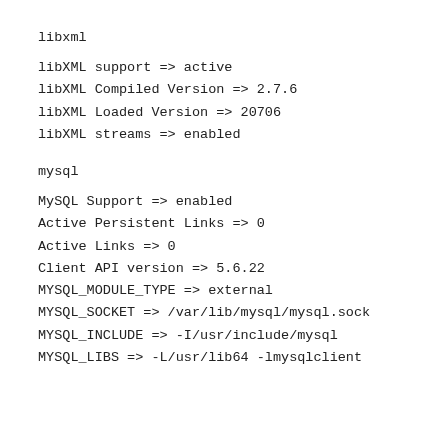libxml
libXML support => active
libXML Compiled Version => 2.7.6
libXML Loaded Version => 20706
libXML streams => enabled
mysql
MySQL Support => enabled
Active Persistent Links => 0
Active Links => 0
Client API version => 5.6.22
MYSQL_MODULE_TYPE => external
MYSQL_SOCKET => /var/lib/mysql/mysql.sock
MYSQL_INCLUDE => -I/usr/include/mysql
MYSQL_LIBS => -L/usr/lib64 -lmysqlclient